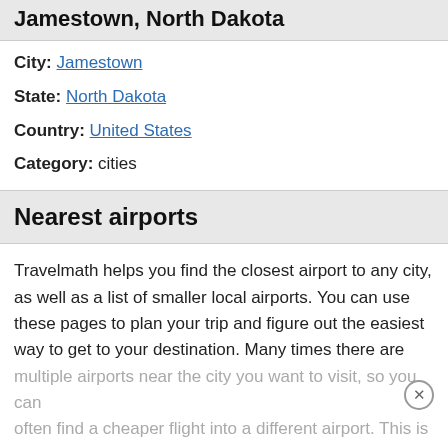Jamestown, North Dakota
City: Jamestown
State: North Dakota
Country: United States
Category: cities
Nearest airports
Travelmath helps you find the closest airport to any city, as well as a list of smaller local airports. You can use these pages to plan your trip and figure out the easiest way to get to your destination. Many times there are multiple airports near the city you want to visit, so you can often find a cheaper flight into a different airport. This is especially useful if you are getting a rental